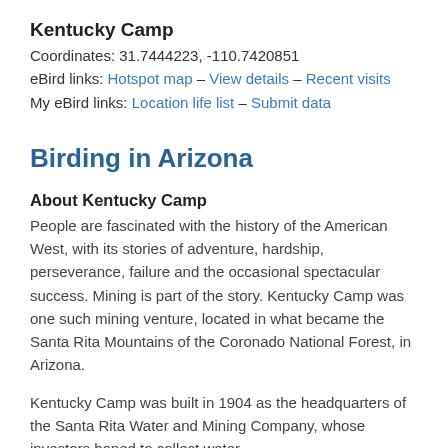Kentucky Camp
Coordinates: 31.7444223, -110.7420851
eBird links: Hotspot map – View details – Recent visits
My eBird links: Location life list – Submit data
Birding in Arizona
About Kentucky Camp
People are fascinated with the history of the American West, with its stories of adventure, hardship, perseverance, failure and the occasional spectacular success. Mining is part of the story. Kentucky Camp was one such mining venture, located in what became the Santa Rita Mountains of the Coronado National Forest, in Arizona.
Kentucky Camp was built in 1904 as the headquarters of the Santa Rita Water and Mining Company, whose investors hoped to collect water